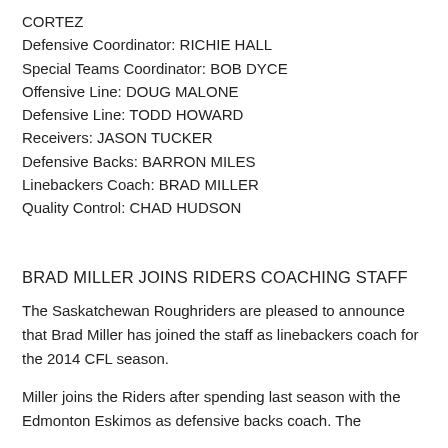CORTEZ
Defensive Coordinator: RICHIE HALL
Special Teams Coordinator: BOB DYCE
Offensive Line: DOUG MALONE
Defensive Line: TODD HOWARD
Receivers: JASON TUCKER
Defensive Backs: BARRON MILES
Linebackers Coach: BRAD MILLER
Quality Control: CHAD HUDSON
BRAD MILLER JOINS RIDERS COACHING STAFF
The Saskatchewan Roughriders are pleased to announce that Brad Miller has joined the staff as linebackers coach for the 2014 CFL season.
Miller joins the Riders after spending last season with the Edmonton Eskimos as defensive backs coach. The